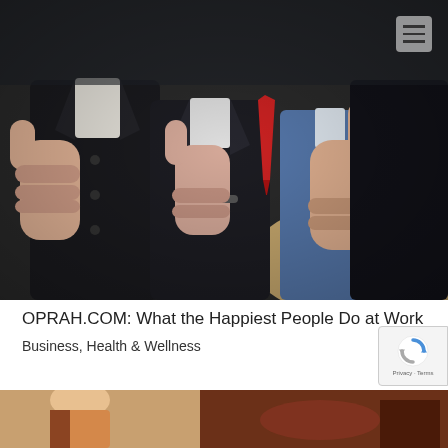[Figure (photo): Photo of business people in suits giving thumbs up around a conference table. Three people are prominently showing thumbs up gestures toward the camera, wearing formal business attire. A wooden table is visible in the background with paper and a pen.]
OPRAH.COM: What the Happiest People Do at Work
Business, Health & Wellness
[Figure (photo): Partial view of a second article image at the bottom of the page, partially visible.]